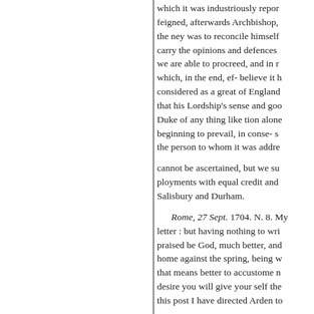which it was industriously reported, feigned, afterwards Archbishop, the ney was to reconcile himself carry the opinions and defences we are able to procreed, and in re which, in the end, ef- believe it h considered as a great of England that his Lordship's sense and goo Duke of any thing like tion alone beginning to prevail, in conse- st the person to whom it was addre
cannot be ascertained, but we su ployments with equal credit and Salisbury and Durham.
Rome, 27 Sept. 1704. N. 8. My letter : but having nothing to wri praised be God, much better, and home against the spring, being w that means better to accustome n desire you will give your self the this post I have directed Arden to
In the letters of some of my fr